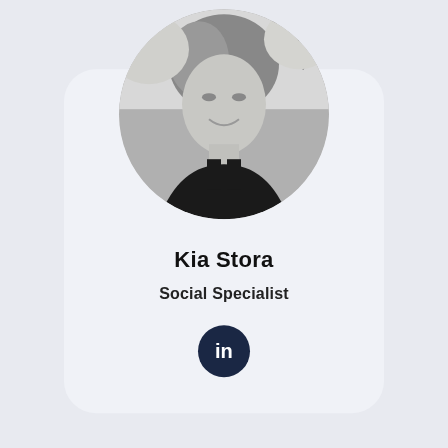[Figure (photo): Black and white circular profile photo of a woman smiling, with short hair, wearing a black tank top, outdoor background with branches]
Kia Stora
Social Specialist
[Figure (logo): LinkedIn icon — white 'in' on dark navy circular background]